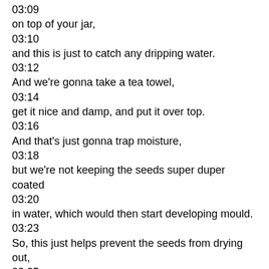03:09
on top of your jar,
03:10
and this is just to catch any dripping water.
03:12
And we're gonna take a tea towel,
03:14
get it nice and damp, and put it over top.
03:16
And that's just gonna trap moisture,
03:18
but we're not keeping the seeds super duper coated
03:20
in water, which would then start developing mould.
03:23
So, this just helps prevent the seeds from drying out,
03:25
which would then kill them,
03:26
and they wouldn't be able to sprout.
03:27
And basically, we're just gonna do this process
03:30